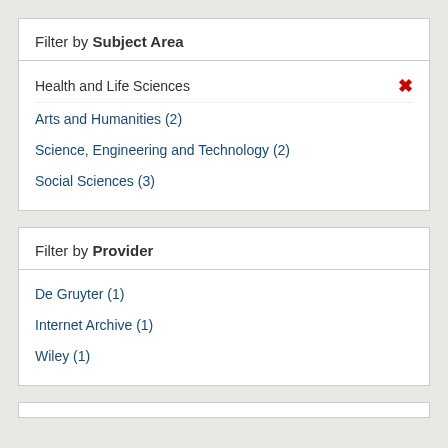Filter by Subject Area
Health and Life Sciences [active, with remove button]
Arts and Humanities (2)
Science, Engineering and Technology (2)
Social Sciences (3)
Filter by Provider
De Gruyter (1)
Internet Archive (1)
Wiley (1)